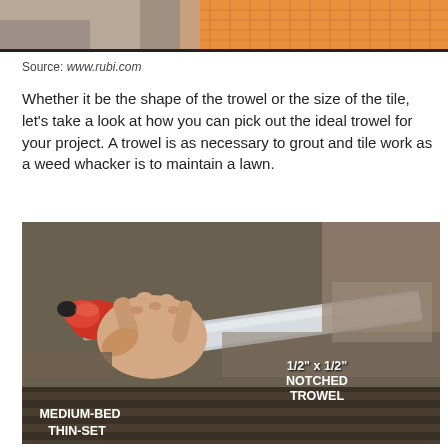[Figure (photo): Top partial image showing a person working with tile and orange mesh underlayment material]
Source: www.rubi.com
Whether it be the shape of the trowel or the size of the tile, let's take a look at how you can pick out the ideal trowel for your project. A trowel is as necessary to grout and tile work as a weed whacker is to maintain a lawn.
[Figure (photo): Close-up photo of a hand holding a notched trowel with red and black handle spreading medium-bed thin-set mortar showing ridged pattern. Labels overlay: '1/2" x 1/2" NOTCHED TROWEL' and 'MEDIUM-BED THIN-SET']